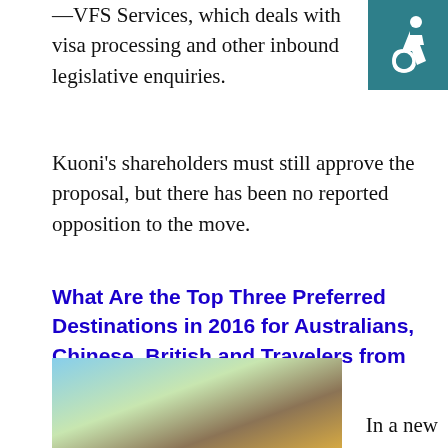—VFS Services, which deals with visa processing and other inbound legislative enquiries.
Kuoni's shareholders must still approve the proposal, but there has been no reported opposition to the move.
What Are the Top Three Preferred Destinations in 2016 for Australians, Chinese, British and Travelers from Four Other Countries?
[Figure (photo): Photo of a rocky hilltop or ancient monument against a blue sky]
In a new